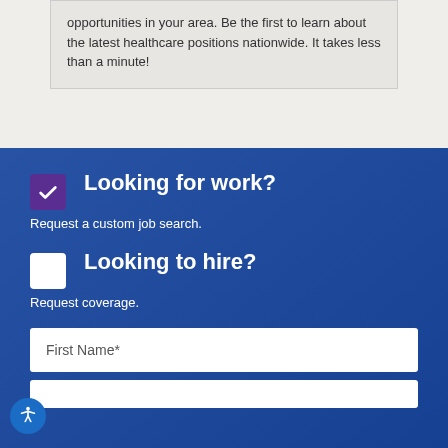opportunities in your area. Be the first to learn about the latest healthcare positions nationwide. It takes less than a minute!
Looking for work?
Request a custom job search.
Looking to hire?
Request coverage.
First Name*
Last Name*